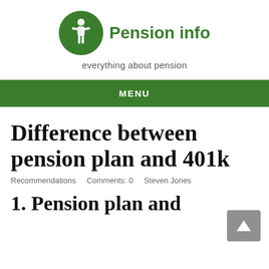[Figure (logo): Green circle logo with white figure of person holding a dollar sign, next to 'Pension info' site name in green bold text]
everything about pension
MENU
Difference between pension plan and 401k
Recommendations   Comments: 0   Steven Jones
1. Pension plan and...